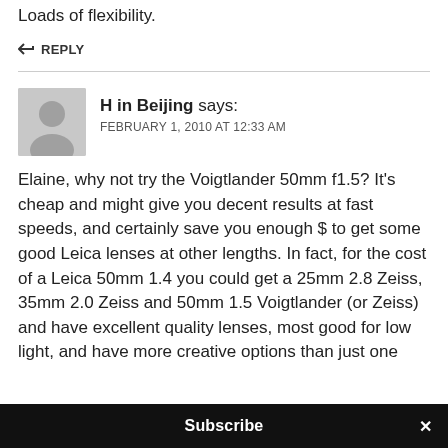Loads of flexibility.
↩ REPLY
H in Beijing says:
FEBRUARY 1, 2010 AT 12:33 AM
Elaine, why not try the Voigtlander 50mm f1.5? It's cheap and might give you decent results at fast speeds, and certainly save you enough $ to get some good Leica lenses at other lengths. In fact, for the cost of a Leica 50mm 1.4 you could get a 25mm 2.8 Zeiss, 35mm 2.0 Zeiss and 50mm 1.5 Voigtlander (or Zeiss) and have excellent quality lenses, most good for low light, and have more creative options than just one
Subscribe ×